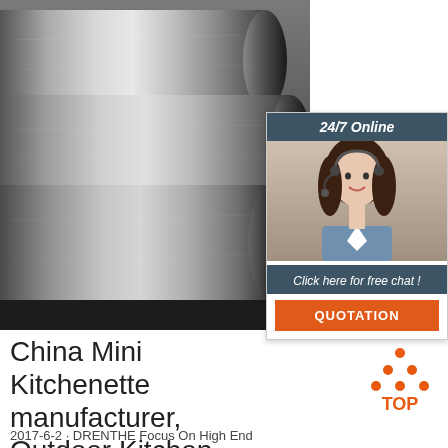[Figure (photo): Three large steel/aluminium round bars/rods lying horizontally, close-up product photo with dark industrial background]
[Figure (infographic): 24/7 Online live chat widget with dark teal header, female customer service agent photo, 'Click here for free chat!' CTA text, and orange QUOTATION button]
China Mini Kitchenette manufacturer, Outdoor Kitchen, Home ...
[Figure (logo): TOP logo — orange triangle made of dots with 'TOP' text below in orange]
2017-6-2 · DRENTHE Focus On High End